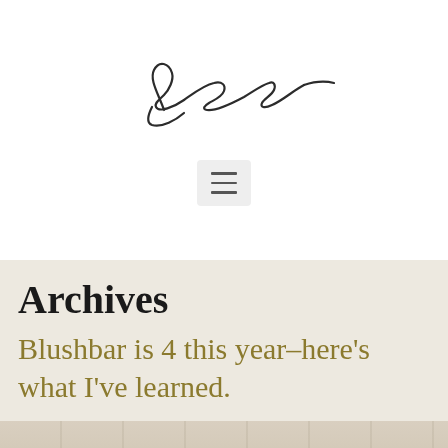[Figure (illustration): Handwritten cursive signature reading 'Sarah' in dark ink on white background]
[Figure (other): Hamburger menu icon (three horizontal lines) on a light gray rounded rectangle background]
Archives
Blushbar is 4 this year–here's what I've learned.
[Figure (photo): Partial photo showing cream/beige fabric or velvet surface with delicate chain jewelry]